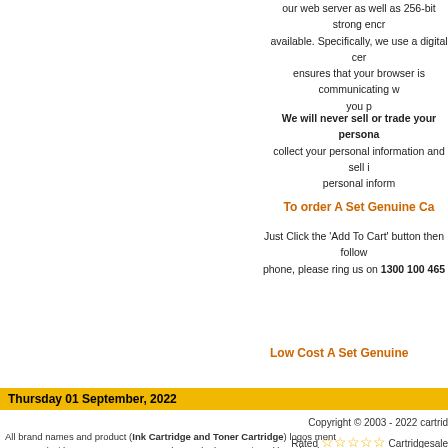our web server as well as 256-bit strong encryption is available. Specifically, we use a digital certificate that ensures that your browser is communicating with the real you p
We will never sell or trade your personal information. We collect your personal information and sell it. We protect your personal information.
To order A Set Genuine Ca
Just Click the 'Add To Cart' button then follow the steps. To order by phone, please ring us on 1300 100 465
Low Cost A Set Genuine
Thursday 01 September, 2022
Copyright © 2003 - 2022 cartridgesale.com.au
Rated ☆☆☆☆☆ Cartridgesale
All brand names and product (Ink Cartridge and Toner Cartridge) logos mentioned are connected with Epson, HP, Canon, Brother and other mentioned brands. These